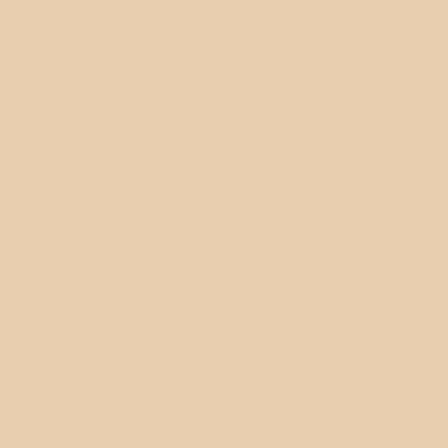ations that work in the fields of child care and deal with problems caused by child abuse. A solid ground for future cooperation was laid during this